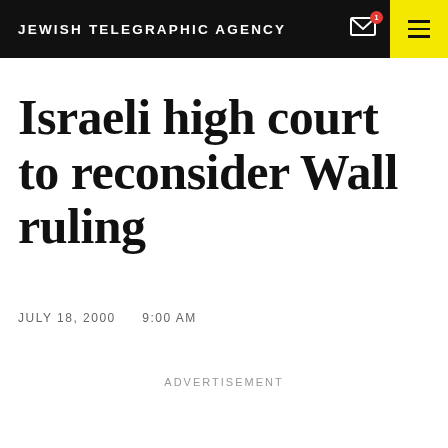JEWISH TELEGRAPHIC AGENCY
Israeli high court to reconsider Wall ruling
JULY 18, 2000    9:00 AM
ADVERTISEMENT